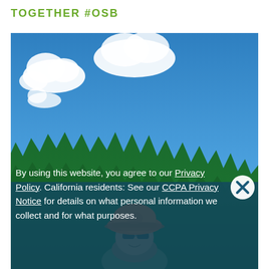TOGETHER #OSB
[Figure (photo): Outdoor photo of a person wearing an orange hard hat, smiling, with tall green coniferous trees and a blue sky with white clouds in the background. The lower portion of the image is overlaid with a semi-transparent dark teal privacy notice banner.]
By using this website, you agree to our Privacy Policy. California residents: See our CCPA Privacy Notice for details on what personal information we collect and for what purposes.